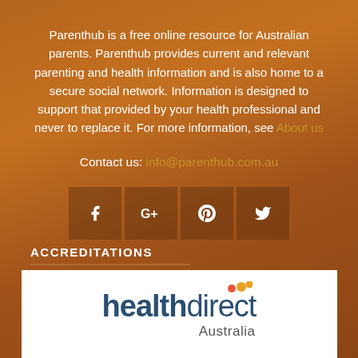Parenthub is a free online resource for Australian parents. Parenthub provides current and relevant parenting and health information and is also home to a secure social network. Information is designed to support that provided by your health professional and never to replace it. For more information, see About us
Contact us: info@parenthub.com.au
[Figure (infographic): Four social media icon buttons in semi-transparent dark boxes: Facebook (f), Google+ (G+), Pinterest (p), Twitter (bird)]
ACCREDITATIONS
[Figure (logo): healthdirect Australia logo on white background]